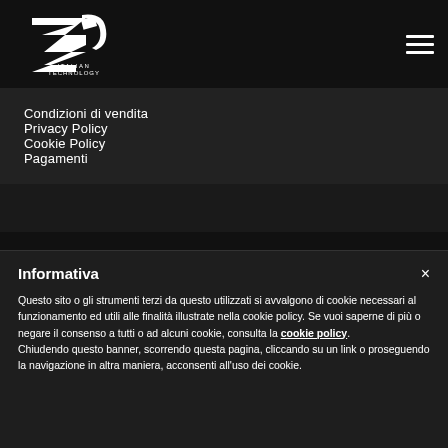[Figure (logo): ZARD Italian Technology logo in white on dark background]
Condizioni di vendita
Privacy Policy
Cookie Policy
Pagamenti
Informativa
Questo sito o gli strumenti terzi da questo utilizzati si avvalgono di cookie necessari al funzionamento ed utili alle finalità illustrate nella cookie policy. Se vuoi saperne di più o negare il consenso a tutti o ad alcuni cookie, consulta la cookie policy. Chiudendo questo banner, scorrendo questa pagina, cliccando su un link o proseguendo la navigazione in altra maniera, acconsenti all'uso dei cookie.